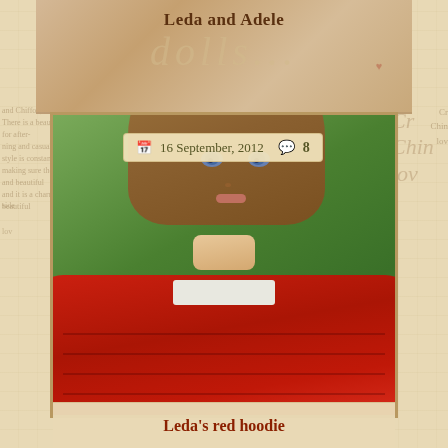Leda and Adele
[Figure (photo): Close-up photo of a realistic doll with blue eyes, long brown hair, wearing a red cable-knit hoodie/cardigan over a white top. Green background. Overlaid date bar reads '16 September, 2012' with calendar icon and comment bubble with '8'.]
Leda's red hoodie